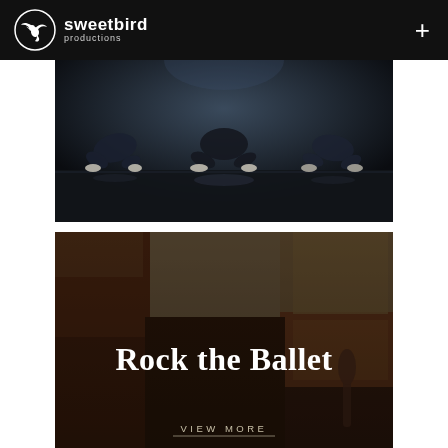sweetbird productions
[Figure (photo): Ballet dancers crouching low on a dark reflective stage floor, wearing dark clothing and ballet shoes, dramatic lighting from above]
[Figure (photo): Rock the Ballet promotional image with geometric orange, tan, and dark background panels; large white bold serif text reading 'Rock the Ballet'; silhouette of a dancer visible at bottom right; 'VIEW MORE' text at bottom]
Rock the Ballet
VIEW MORE